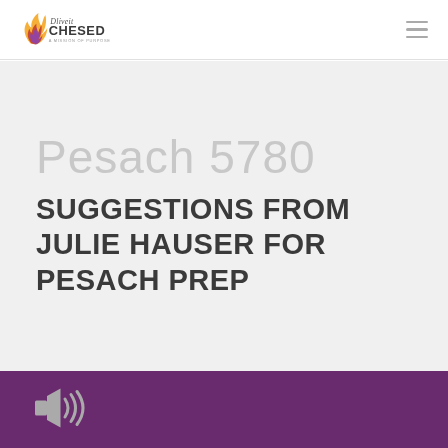Dliveit Chesed - A Mission of Purpose
Pesach 5780
SUGGESTIONS FROM JULIE HAUSER FOR PESACH PREP
[Figure (other): Audio speaker icon on purple background]